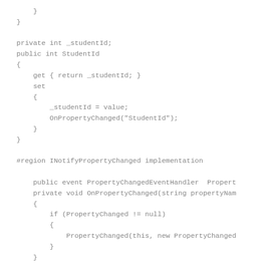}
    }

    private int _studentId;
    public int StudentId
    {
        get { return _studentId; }
        set
        {
            _studentId = value;
            OnPropertyChanged("StudentId");
        }
    }

    #region INotifyPropertyChanged implementation

        public event PropertyChangedEventHandler  Propert
        private void OnPropertyChanged(string propertyNam
        {
            if (PropertyChanged != null)
            {
                PropertyChanged(this, new PropertyChanged
            }
        }

        #endregion INotifyPropertyChanged implementation
}